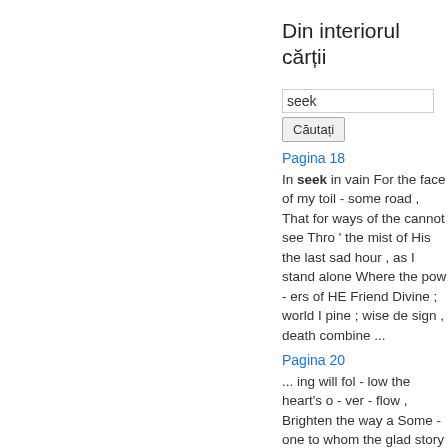Din interiorul cărții
seek
Căutați
Pagina 18
In seek in vain For the face of my toil - some road , That for ways of the cannot see Thro ' the mist of His the last sad hour , as I stand alone Where the pow - ers of HE Friend Divine ; world I pine ; wise de sign , death combine ...
Pagina 20
... ing will fol - low the heart's o - ver - flow , Brighten the way a Some - one to whom the glad story you told , Some -